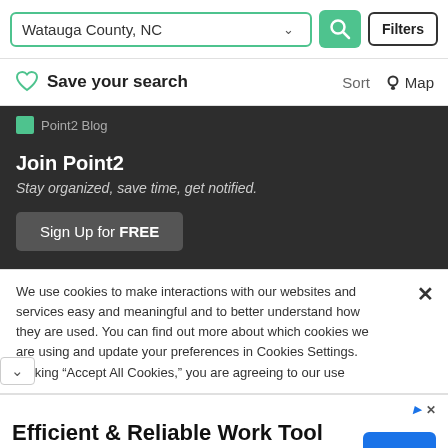[Figure (screenshot): Search bar with 'Watauga County, NC' input, green search button with magnifier icon, and 'Filters' button]
Save your search
Sort   Map
Point2 Blog
Join Point2
Stay organized, save time, get notified.
Sign Up for FREE
We use cookies to make interactions with our websites and services easy and meaningful and to better understand how they are used. You can find out more about which cookies we are using and update your preferences in Cookies Settings. clicking “Accept All Cookies,” you are agreeing to our use
Efficient & Reliable Work Tool
Clearance Event On All Work Tools and Attachments Wyoming Machinery Company
Open